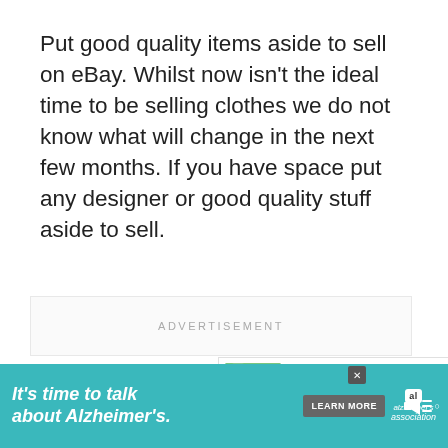Put good quality items aside to sell on eBay. Whilst now isn't the ideal time to be selling clothes we do not know what will change in the next few months. If you have space put any designer or good quality stuff aside to sell.
ADVERTISEMENT
WHAT'S NEXT → Getting the Garden...
[Figure (screenshot): Bottom advertisement banner: teal background with text 'It's time to talk about Alzheimer's.' and Alzheimer's Association logo and Learn More button]
[Figure (infographic): Sidebar with heart/like button showing 97 likes and a share button]
[Figure (photo): Small thumbnail image of a garden scene for What's Next section]